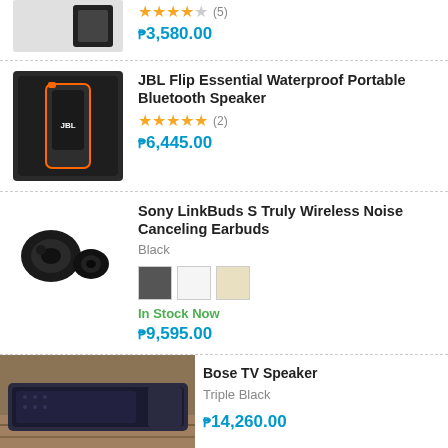[Figure (photo): Partial product image top, small speaker product, cropped]
★★★★☆ (5)
₱3,580.00
[Figure (photo): JBL Flip Essential Waterproof Portable Bluetooth Speaker box, black]
JBL Flip Essential Waterproof Portable Bluetooth Speaker
★★★★★ (2)
₱6,445.00
[Figure (photo): Sony LinkBuds S Truly Wireless Noise Canceling Earbuds, black earbuds]
Sony LinkBuds S Truly Wireless Noise Canceling Earbuds
Black
In Stock Now
₱9,595.00
[Figure (photo): Bose TV Speaker soundbar, Triple Black, on wooden surface]
Bose TV Speaker
Triple Black
₱14,260.00
[Figure (photo): IKEA x Sonos Wi-Fi bookshelf Speaker SYMFONISK, white, tall cylinder shape]
IKEA x Sonos Wi-Fi bookshelf Speaker SYMFONISK
White